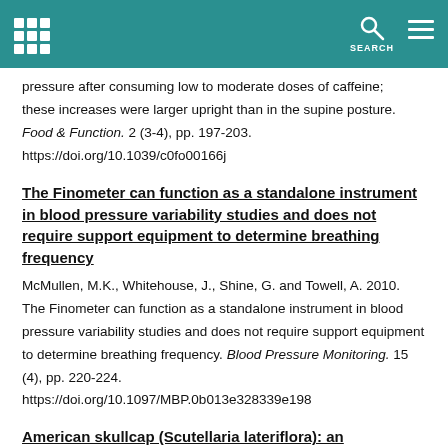SEARCH
pressure after consuming low to moderate doses of caffeine; these increases were larger upright than in the supine posture. Food & Function. 2 (3-4), pp. 197-203. https://doi.org/10.1039/c0fo00166j
The Finometer can function as a standalone instrument in blood pressure variability studies and does not require support equipment to determine breathing frequency
McMullen, M.K., Whitehouse, J., Shine, G. and Towell, A. 2010. The Finometer can function as a standalone instrument in blood pressure variability studies and does not require support equipment to determine breathing frequency. Blood Pressure Monitoring. 15 (4), pp. 220-224. https://doi.org/10.1097/MBP.0b013e328339e198
American skullcap (Scutellaria lateriflora): an